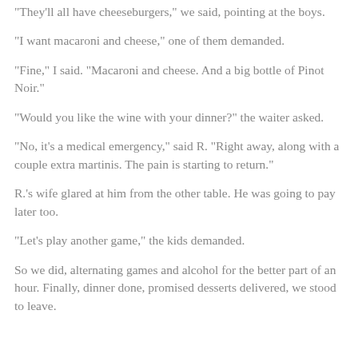"They'll all have cheeseburgers," we said, pointing at the boys.
"I want macaroni and cheese," one of them demanded.
"Fine," I said. "Macaroni and cheese. And a big bottle of Pinot Noir."
"Would you like the wine with your dinner?" the waiter asked.
"No, it's a medical emergency," said R. "Right away, along with a couple extra martinis. The pain is starting to return."
R.'s wife glared at him from the other table. He was going to pay later too.
"Let's play another game," the kids demanded.
So we did, alternating games and alcohol for the better part of an hour. Finally, dinner done, promised desserts delivered, we stood to leave.